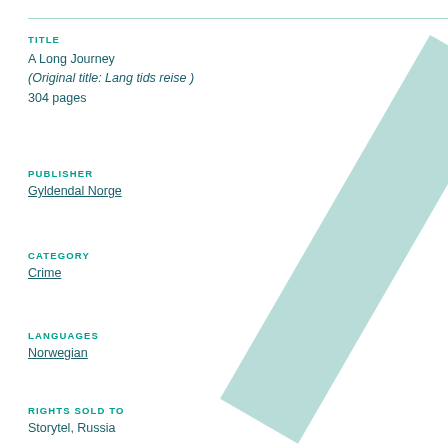TITLE
A Long Journey
(Original title: Lang tids reise )
304 pages
PUBLISHER
Gyldendal Norge
CATEGORY
Crime
LANGUAGES
Norwegian
RIGHTS SOLD TO
Storytel, Russia